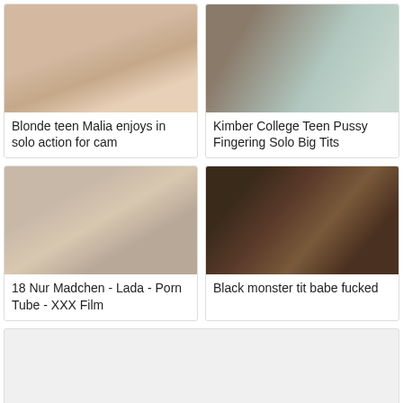[Figure (photo): Thumbnail image for adult video card 1]
Blonde teen Malia enjoys in solo action for cam
[Figure (photo): Thumbnail image for adult video card 2]
Kimber College Teen Pussy Fingering Solo Big Tits
[Figure (photo): Thumbnail image for adult video card 3]
18 Nur Madchen - Lada - Porn Tube - XXX Film
[Figure (photo): Thumbnail image for adult video card 4]
Black monster tit babe fucked
[Figure (other): Empty gray placeholder card at bottom spanning full width]